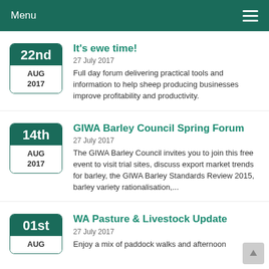Menu
It's ewe time!
27 July 2017
Full day forum delivering practical tools and information to help sheep producing businesses improve profitability and productivity.
GIWA Barley Council Spring Forum
27 July 2017
The GIWA Barley Council invites you to join this free event to visit trial sites, discuss export market trends for barley, the GIWA Barley Standards Review 2015, barley variety rationalisation,...
WA Pasture & Livestock Update
27 July 2017
Enjoy a mix of paddock walks and afternoon